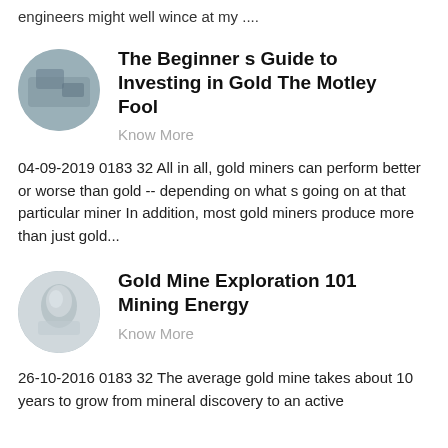engineers might well wince at my ....
The Beginner s Guide to Investing in Gold The Motley Fool
Know More
04-09-2019 0183 32 All in all, gold miners can perform better or worse than gold -- depending on what s going on at that particular miner In addition, most gold miners produce more than just gold...
Gold Mine Exploration 101 Mining Energy
Know More
26-10-2016 0183 32 The average gold mine takes about 10 years to grow from mineral discovery to an active